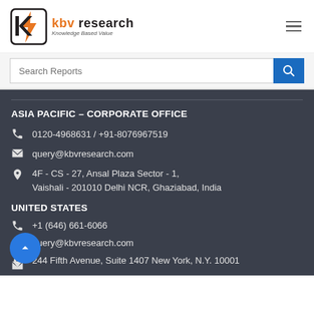KBV Research - Knowledge Based Value
Search Reports
ASIA PACIFIC – CORPORATE OFFICE
0120-4968631 / +91-8076967519
query@kbvresearch.com
4F - CS - 27, Ansal Plaza Sector - 1, Vaishali - 201010 Delhi NCR, Ghaziabad, India
UNITED STATES
+1 (646) 661-6066
query@kbvresearch.com
244 Fifth Avenue, Suite 1407 New York, N.Y. 10001